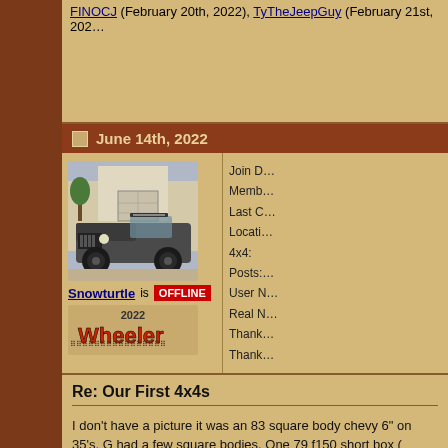FINOCJ (February 20th, 2022), TyTheJeepGuy (February 21st, 202...
June 14th, 2022
[Figure (photo): Dark gray Jeep Gladiator truck in a driveway, photographed from front-left angle, with black wheels and lift kit]
Snowturtle is OFFLINE
[Figure (illustration): 2022 Wheeler badge/logo with stylized text]
Join D...
Memb...
Last C...
Locati...
4x4:
Posts:...
User N...
Real N...
Thank...
Thank...
Re: Our First 4x4s
I don't have a picture it was an 83 square body chevy 6" on 35's. G had a few square bodies. One 79 f150 short box (...) orange/red. About 6 s10's. This picture is the last one I had. 97 ext... mountain storage and brought it down here to sell. 10k on a crate m... Gypsum. I now own 4 jeeps. A 51 ci3a on 38's. 93yj on 38's. 20 cl...